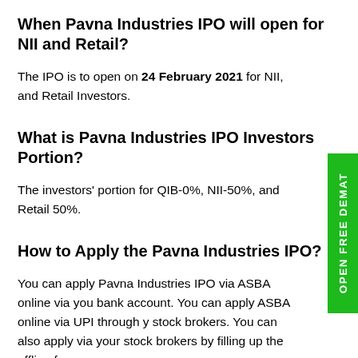When Pavna Industries IPO will open for NII and Retail?
The IPO is to open on 24 February 2021 for NII, and Retail Investors.
What is Pavna Industries IPO Investors Portion?
The investors' portion for QIB-0%, NII-50%, and Retail 50%.
How to Apply the Pavna Industries IPO?
You can apply Pavna Industries IPO via ASBA online via your bank account. You can apply ASBA online via UPI through your stock brokers. You can also apply via your stock brokers by filling up the offline form.
How to Apply the Burger King IPO through Zerodha?